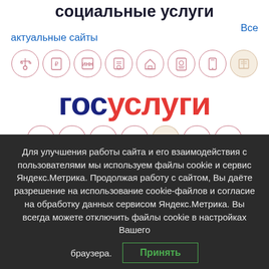социальные услуги
Все актуальные сайты
[Figure (illustration): Row of 8 circular icons representing government service categories (scales, documents, INN tax, certificate, home, passport, device, book), with the last one highlighted in beige]
[Figure (logo): Gosuslugi logo: 'гос' in dark blue bold, 'услуги' in red bold, large font]
[Figure (illustration): Partially visible bottom row of circular icons, cropped at bottom]
Для улучшения работы сайта и его взаимодействия с пользователями мы используем файлы cookie и сервис Яндекс.Метрика. Продолжая работу с сайтом, Вы даёте разрешение на использование cookie-файлов и согласие на обработку данных сервисом Яндекс.Метрика. Вы всегда можете отключить файлы cookie в настройках Вашего браузера.
Принять